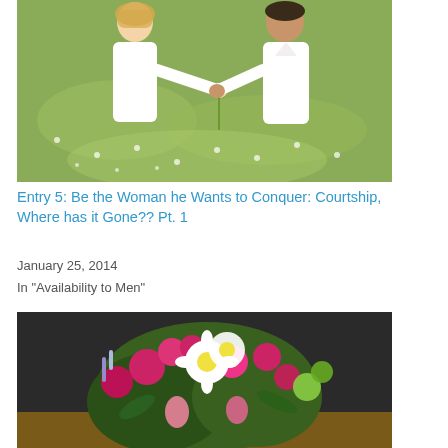[Figure (photo): A man and woman standing in a flower field, the man handing or sharing a flower with the woman, both wearing white shirts]
Entry 5: Be the Woman he Wants to Conquer: Courtship, Where has it Gone?? Pt. 1
January 25, 2014
In "Availability to Men"
[Figure (photo): A colorful bouquet of flowers including pink roses, white daisies, and green flowers on a dark background]